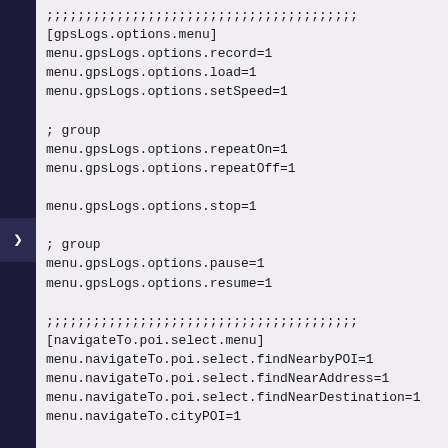;;;;;;;;;;;;;;;;;;;;;;;;;;;;;;;;;;;;;;;;
[gpsLogs.options.menu]
menu.gpsLogs.options.record=1
menu.gpsLogs.options.load=1
menu.gpsLogs.options.setSpeed=1

; group
menu.gpsLogs.options.repeatOn=1
menu.gpsLogs.options.repeatOff=1

menu.gpsLogs.options.stop=1

; group
menu.gpsLogs.options.pause=1
menu.gpsLogs.options.resume=1

;;;;;;;;;;;;;;;;;;;;;;;;;;;;;;;;;;;;;;;;
[navigateTo.poi.select.menu]
menu.navigateTo.poi.select.findNearbyPOI=1
menu.navigateTo.poi.select.findNearAddress=1
menu.navigateTo.poi.select.findNearDestination=1
menu.navigateTo.cityPOI=1

;;;;;;;;;;;;;;;;;;;;;;;;;;;;;;;;;;;;;;;;
[menu.viewRoute]
menu.viewRoute.itinerary=1
menu.viewRoute.alternative=1